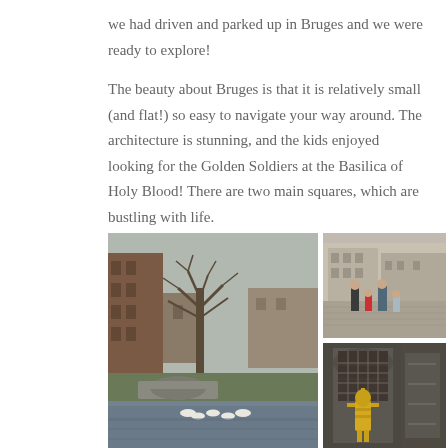we had driven and parked up in Bruges and we were ready to explore!
The beauty about Bruges is that it is relatively small (and flat!) so easy to navigate your way around. The architecture is stunning, and the kids enjoyed looking for the Golden Soldiers at the Basilica of Holy Blood! There are two main squares, which are bustling with life.
[Figure (photo): Large photo on the left: canal scene in Bruges with stone bridge, bare winter trees, historic brick buildings, and swans on the water.]
[Figure (photo): Top right photo: family of four people standing in a large open square in Bruges with historic guild hall buildings in the background.]
[Figure (photo): Bottom right photo: close-up of a golden soldier statue attached to ornate Gothic stonework on the facade of the Basilica of Holy Blood in Bruges.]